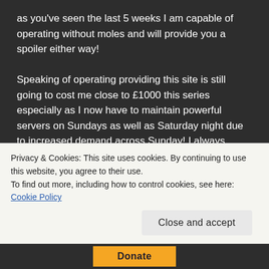as you've seen the last 5 weeks I am capable of operating without moles and will provide you a spoiler either way!

Speaking of operating providing this site is still going to cost me close to £1000 this series especially as I now have to maintain powerful servers on Sundays as well as Saturday night due to increased demand across Sunday! I always stress this on the donation links but it is more important than ever in 2020 that you only consider helping me out with these costs if you can afford to do so. I would not want to cause anyone else hardship
Privacy & Cookies: This site uses cookies. By continuing to use this website, you agree to their use.
To find out more, including how to control cookies, see here: Cookie Policy
Close and accept
Donate